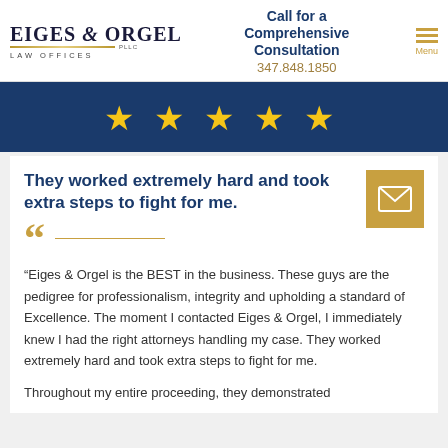[Figure (logo): Eiges & Orgel PLLC Law Offices logo with gold bar]
Call for a Comprehensive Consultation
347.848.1850
[Figure (infographic): Five yellow stars on dark blue banner]
They worked extremely hard and took extra steps to fight for me.
[Figure (infographic): Gold envelope/email icon button]
“Eiges & Orgel is the BEST in the business. These guys are the pedigree for professionalism, integrity and upholding a standard of Excellence. The moment I contacted Eiges & Orgel, I immediately knew I had the right attorneys handling my case. They worked extremely hard and took extra steps to fight for me.
Throughout my entire proceeding, they demonstrated